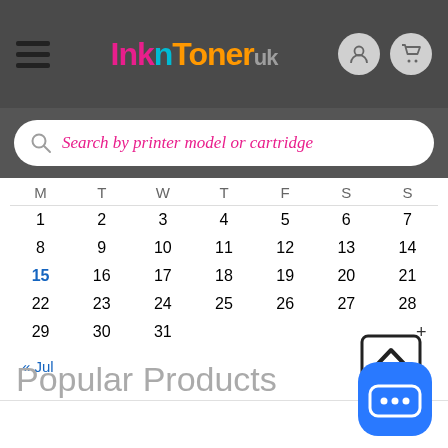InknToner UK - Header navigation with hamburger menu, logo, user and cart icons
Search by printer model or cartridge
| M | T | W | T | F | S | S |
| --- | --- | --- | --- | --- | --- | --- |
| 1 | 2 | 3 | 4 | 5 | 6 | 7 |
| 8 | 9 | 10 | 11 | 12 | 13 | 14 |
| 15 | 16 | 17 | 18 | 19 | 20 | 21 |
| 22 | 23 | 24 | 25 | 26 | 27 | 28 |
| 29 | 30 | 31 |  |  |  |  |
« Jul
Popular Products
[Figure (illustration): Scroll-to-top button icon with upward chevron and plus sign]
[Figure (illustration): Blue chat/messaging button with speech bubble icon]